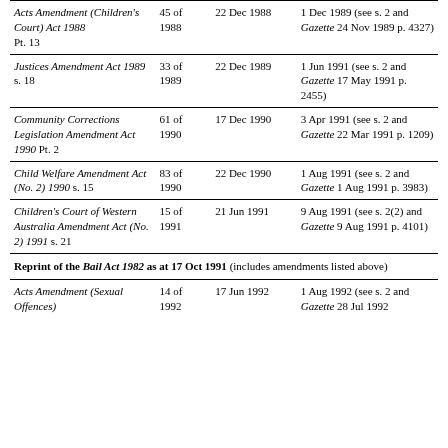| Act | Number | Date of assent | Date of commencement |
| --- | --- | --- | --- |
| Acts Amendment (Children's Court) Act 1988 Pt. 13 | 45 of 1988 | 22 Dec 1988 | 1 Dec 1989 (see s. 2 and Gazette 24 Nov 1989 p. 4327) |
| Justices Amendment Act 1989 s. 18 | 33 of 1989 | 22 Dec 1989 | 1 Jun 1991 (see s. 2 and Gazette 17 May 1991 p. 2455) |
| Community Corrections Legislation Amendment Act 1990 Pt. 2 | 61 of 1990 | 17 Dec 1990 | 3 Apr 1991 (see s. 2 and Gazette 22 Mar 1991 p. 1209) |
| Child Welfare Amendment Act (No. 2) 1990 s. 15 | 83 of 1990 | 22 Dec 1990 | 1 Aug 1991 (see s. 2 and Gazette 1 Aug 1991 p. 3983) |
| Children's Court of Western Australia Amendment Act (No. 2) 1991 s. 21 | 15 of 1991 | 21 Jun 1991 | 9 Aug 1991 (see s. 2(2) and Gazette 9 Aug 1991 p. 4101) |
| Reprint of the Bail Act 1982 as at 17 Oct 1991 (includes amendments listed above) |  |  |  |
| Acts Amendment (Sexual Offences) | 14 of 1992 | 17 Jun 1992 | 1 Aug 1992 (see s. 2 and Gazette 28 Jul 1992 |